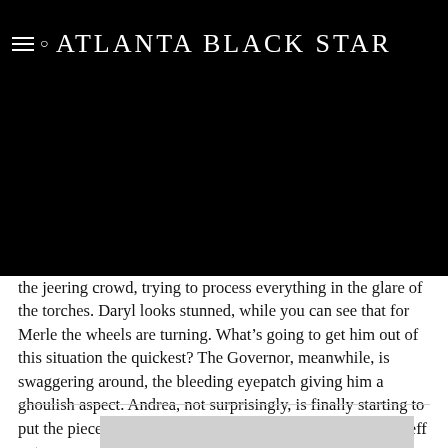Atlanta Black Star
the jeering crowd, trying to process everything in the glare of the torches. Daryl looks stunned, while you can see that for Merle the wheels are turning. What’s going to get him out of this situation the quickest? The Governor, meanwhile, is swaggering around, the bleeding eyepatch giving him a ghoulish aspect. Andrea, not surprisingly, is finally starting to put the pieces together and is NOW beginning to freak the eff out.
'Where Does The Time Go?': Fan...